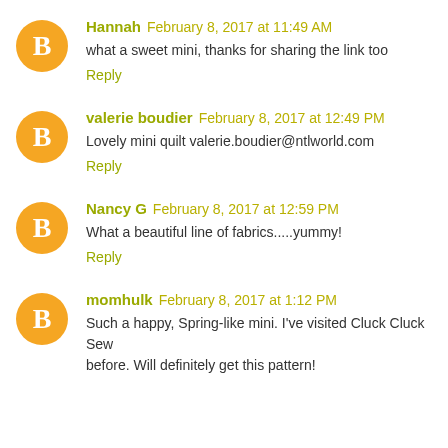Hannah February 8, 2017 at 11:49 AM
what a sweet mini, thanks for sharing the link too
Reply
valerie boudier February 8, 2017 at 12:49 PM
Lovely mini quilt valerie.boudier@ntlworld.com
Reply
Nancy G February 8, 2017 at 12:59 PM
What a beautiful line of fabrics.....yummy!
Reply
momhulk February 8, 2017 at 1:12 PM
Such a happy, Spring-like mini. I've visited Cluck Cluck Sew before. Will definitely get this pattern!